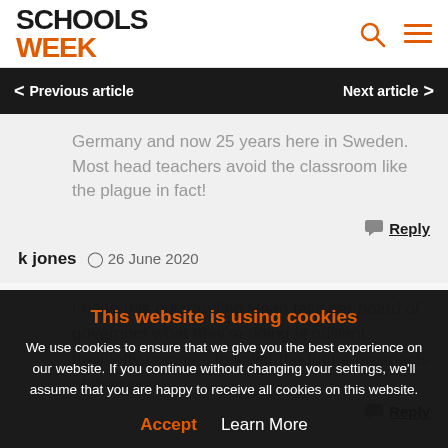SCHOOLS WEEK
Previous article | Next article
Germany and now 25 years here in Sweden. Most head teachers avoid the classroom like the plague in fact!
Reply
k jones  26 June 2020
I hope this outstanding Head tells her board of governors what they're doing is brilliant
This website is using cookies
We use cookies to ensure that we give you the best experience on our website. If you continue without changing your settings, we'll assume that you are happy to receive all cookies on this website.
Accept  Learn More
their lefty unions... to lower the future prospects of their pupils
Reply